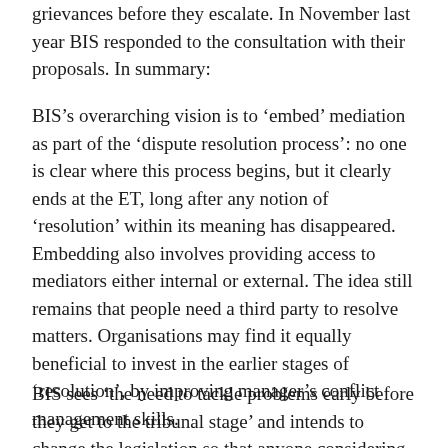grievances before they escalate. In November last year BIS responded to the consultation with their proposals. In summary:
BIS's overarching vision is to 'embed' mediation as part of the 'dispute resolution process': no one is clear where this process begins, but it clearly ends at the ET, long after any notion of 'resolution' within its meaning has disappeared. Embedding also involves providing access to mediators either internal or external. The idea still remains that people need a third party to resolve matters. Organisations may find it equally beneficial to invest in the earlier stages of 'resolution', by improving manager's conflict management skills.
BIS sees 'the need to tackle problems early before they get to the tribunal stage' and intends to change the legislation so that anyone considering